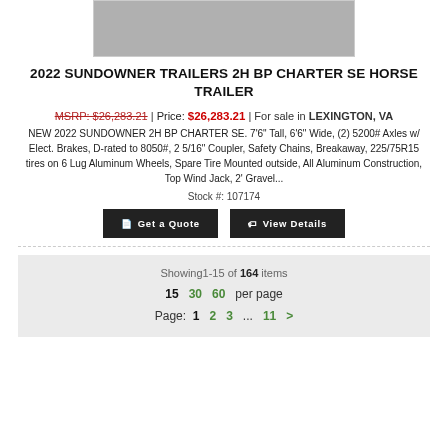[Figure (photo): Partial photo of a horse trailer (top portion cropped)]
2022 SUNDOWNER TRAILERS 2H BP CHARTER SE HORSE TRAILER
MSRP: $26,283.21 | Price: $26,283.21 | For sale in LEXINGTON, VA
NEW 2022 SUNDOWNER 2H BP CHARTER SE. 7'6" Tall, 6'6" Wide, (2) 5200# Axles w/ Elect. Brakes, D-rated to 8050#, 2 5/16" Coupler, Safety Chains, Breakaway, 225/75R15 tires on 6 Lug Aluminum Wheels, Spare Tire Mounted outside, All Aluminum Construction, Top Wind Jack, 2' Gravel...
Stock #: 107174
Get a Quote   View Details
Showing1-15 of 164 items
15  30  60  per page
Page: 1  2  3  ...  11  >